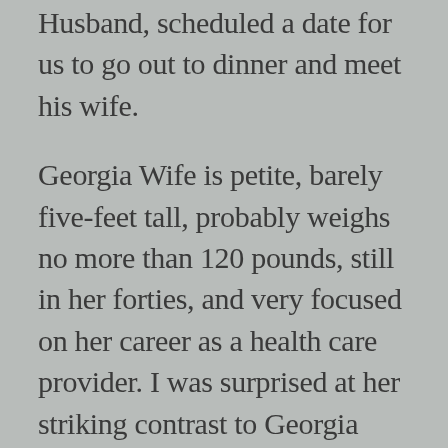Husband, scheduled a date for us to go out to dinner and meet his wife.
Georgia Wife is petite, barely five-feet tall, probably weighs no more than 120 pounds, still in her forties, and very focused on her career as a health care provider. I was surprised at her striking contrast to Georgia Husband, who is at least 6 feet tall, retired, 69+ years, and a happy house-husband who is quite